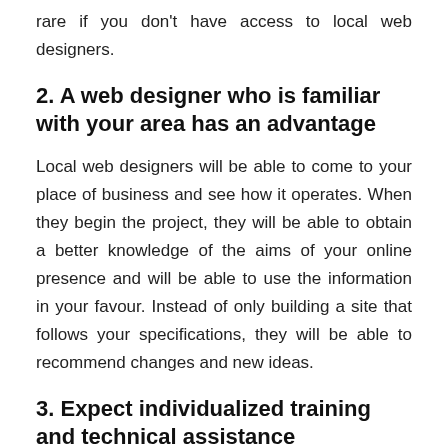rare if you don't have access to local web designers.
2. A web designer who is familiar with your area has an advantage
Local web designers will be able to come to your place of business and see how it operates. When they begin the project, they will be able to obtain a better knowledge of the aims of your online presence and will be able to use the information in your favour. Instead of only building a site that follows your specifications, they will be able to recommend changes and new ideas.
3. Expect individualized training and technical assistance
At some time, everyone will require technical assistance. Design flaws can also generate technological complications. You may also require